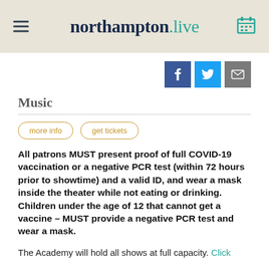northampton.live
Music
more info | get tickets
All patrons MUST present proof of full COVID-19 vaccination or a negative PCR test (within 72 hours prior to showtime) and a valid ID, and wear a mask inside the theater while not eating or drinking. Children under the age of 12 that cannot get a vaccine – MUST provide a negative PCR test and wear a mask.
The Academy will hold all shows at full capacity. Click